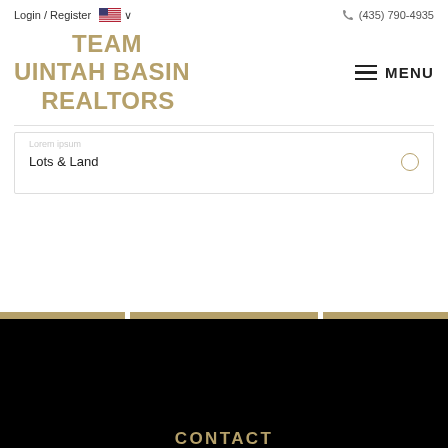Login / Register  (435) 790-4935
TEAM UINTAH BASIN REALTORS
MENU
Lots & Land
CONTACT